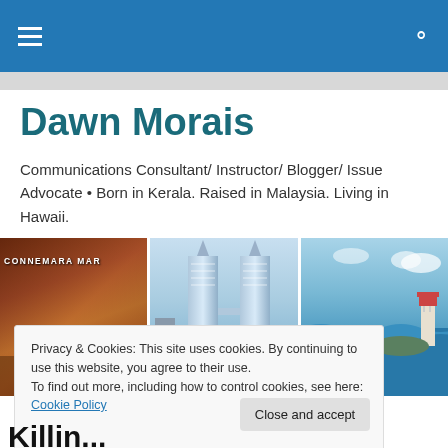Dawn Morais - navigation bar with hamburger menu and search icon
Dawn Morais
Communications Consultant/ Instructor/ Blogger/ Issue Advocate • Born in Kerala. Raised in Malaysia. Living in Hawaii.
[Figure (photo): Three-panel photo strip: left panel shows Connemara Market brick arch building, center shows Petronas Twin Towers in Kuala Lumpur against blue sky, right shows tropical ocean scene with lighthouse.]
Privacy & Cookies: This site uses cookies. By continuing to use this website, you agree to their use.
To find out more, including how to control cookies, see here: Cookie Policy
Close and accept
Killin...